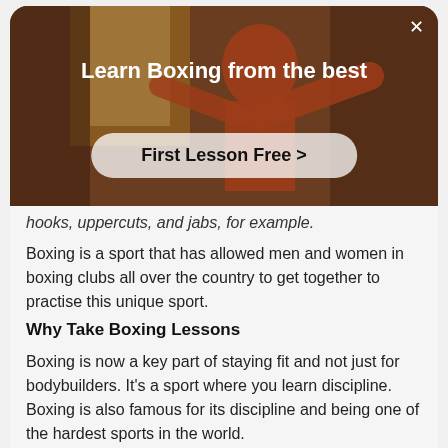[Figure (screenshot): Modal overlay with hero image of a boxer in a gym. Contains title 'Learn Boxing from the best' and a 'First Lesson Free >' call-to-action button. Close X button in top right corner.]
hooks, uppercuts, and jabs, for example.
Boxing is a sport that has allowed men and women in boxing clubs all over the country to get together to practise this unique sport.
Why Take Boxing Lessons
Boxing is now a key part of staying fit and not just for bodybuilders. It's a sport where you learn discipline. Boxing is also famous for its discipline and being one of the hardest sports in the world.
This reputations has led to the creation of hybrid